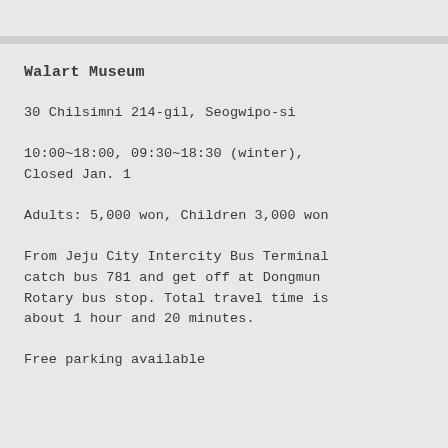Walart Museum
30 Chilsimni 214-gil, Seogwipo-si
10:00~18:00, 09:30~18:30 (winter), Closed Jan. 1
Adults: 5,000 won, Children 3,000 won
From Jeju City Intercity Bus Terminal catch bus 781 and get off at Dongmun Rotary bus stop. Total travel time is about 1 hour and 20 minutes.
Free parking available